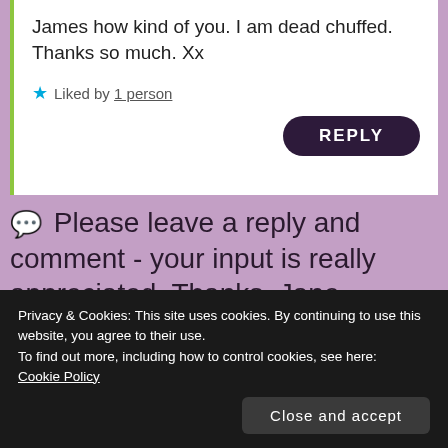James how kind of you. I am dead chuffed. Thanks so much. Xx
★ Liked by 1 person
REPLY
💬 Please leave a reply and comment - your input is really appreciated. Thanks, Jane
Your email address will not be published.
Privacy & Cookies: This site uses cookies. By continuing to use this website, you agree to their use.
To find out more, including how to control cookies, see here:
Cookie Policy
Close and accept